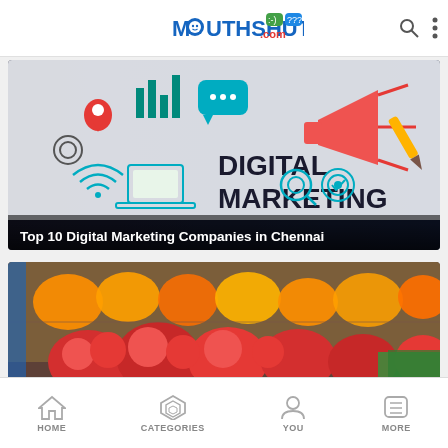MouthShut.com
[Figure (screenshot): Digital Marketing illustration with icons for location, analytics, chat, wifi, laptop, search, target and a megaphone. Text reads 'DIGITAL MARKETING']
Top 10 Digital Marketing Companies in Chennai
[Figure (photo): Photo of a grocery store produce section with tomatoes, oranges, and green vegetables in wooden crates]
Grocery Buying Guide
HOME   CATEGORIES   YOU   MORE